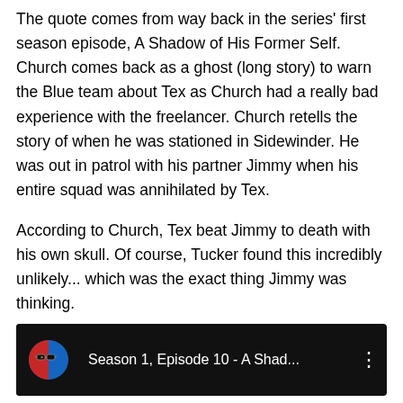The quote comes from way back in the series' first season episode, A Shadow of His Former Self. Church comes back as a ghost (long story) to warn the Blue team about Tex as Church had a really bad experience with the freelancer. Church retells the story of when he was stationed in Sidewinder. He was out in patrol with his partner Jimmy when his entire squad was annihilated by Tex.
According to Church, Tex beat Jimmy to death with his own skull. Of course, Tucker found this incredibly unlikely... which was the exact thing Jimmy was thinking.
[Figure (screenshot): Video thumbnail showing a red and blue globe with sunglasses icon on the left, text 'Season 1, Episode 10 - A Shad...' in white on black background, with a vertical three-dot menu icon on the right.]